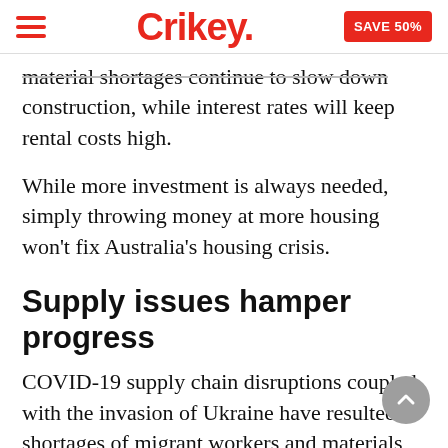Crikey. | SAVE 50%
material shortages continue to slow down construction, while interest rates will keep rental costs high.
While more investment is always needed, simply throwing money at more housing won't fix Australia's housing crisis.
Supply issues hamper progress
COVID-19 supply chain disruptions coupled with the invasion of Ukraine have resulted in shortages of migrant workers and materials like timber in Australia, with some building firms focusing on large development contracts over individual